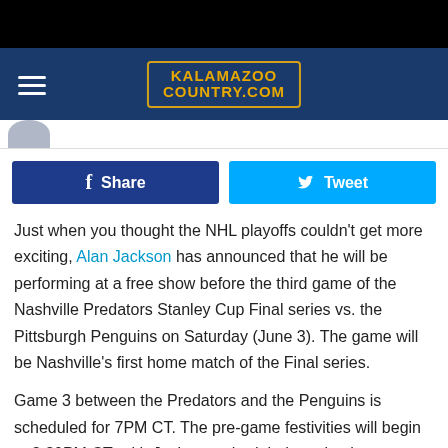[Figure (screenshot): Black top bar of mobile browser]
KALAMAZOO COUNTRY.COM — navigation bar with hamburger menu and logo
[Figure (photo): Partial profile image visible at left of white strip]
Share  Tweet — social share buttons
Just when you thought the NHL playoffs couldn't get more exciting, Alan Jackson has announced that he will be performing at a free show before the third game of the Nashville Predators Stanley Cup Final series vs. the Pittsburgh Penguins on Saturday (June 3). The game will be Nashville's first home match of the Final series.
Game 3 between the Predators and the Penguins is scheduled for 7PM CT. The pre-game festivities will begin at 3:30PM CT, with Jackson scheduled to take the stage at